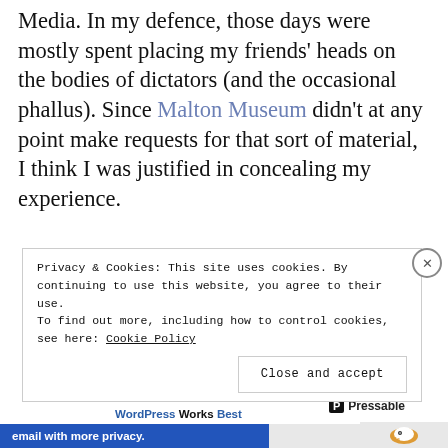Media. In my defence, those days were mostly spent placing my friends' heads on the bodies of dictators (and the occasional phallus). Since Malton Museum didn't at any point make requests for that sort of material, I think I was justified in concealing my experience.
[Figure (infographic): Advertisement for Pressable: 'The Platform Where WordPress Works Best' with Pressable logo and blue top border]
REPORT THIS AD
Privacy & Cookies: This site uses cookies. By continuing to use this website, you agree to their use.
To find out more, including how to control cookies, see here: Cookie Policy
Close and accept
[Figure (infographic): Bottom banner: 'email with more privacy.' with DuckDuckGo logo area]